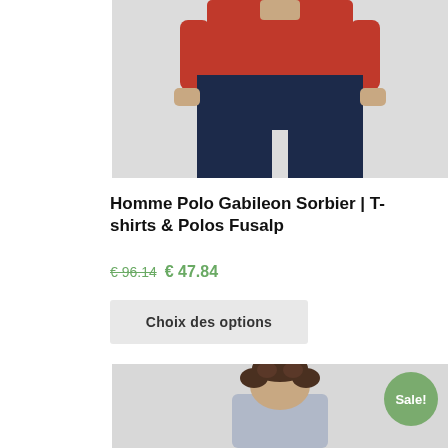[Figure (photo): Man wearing red top and dark navy sports pants, cropped at torso/legs, on a light grey background.]
Homme Polo Gabileon Sorbier | T-shirts & Polos Fusalp
€96.14  € 47.84
Choix des options
[Figure (photo): Man with curly hair, wearing a top, partial view showing head and shoulders on a light grey background. Sale badge visible.]